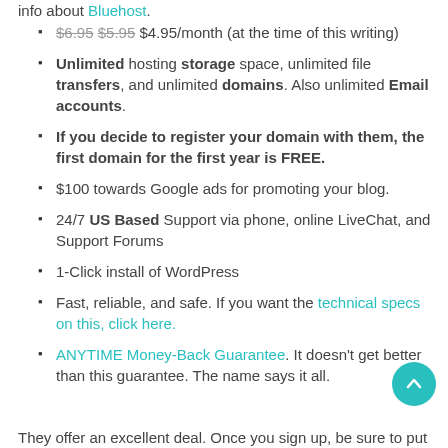info about Bluehost.
$6.95 $5.95 $4.95/month (at the time of this writing)
Unlimited hosting storage space, unlimited file transfers, and unlimited domains. Also unlimited Email accounts.
If you decide to register your domain with them, the first domain for the first year is FREE.
$100 towards Google ads for promoting your blog.
24/7 US Based Support via phone, online LiveChat, and Support Forums
1-Click install of WordPress
Fast, reliable, and safe. If you want the technical specs on this, click here.
ANYTIME Money-Back Guarantee. It doesn't get better than this guarantee. The name says it all.
They offer an excellent deal. Once you sign up, be sure to put